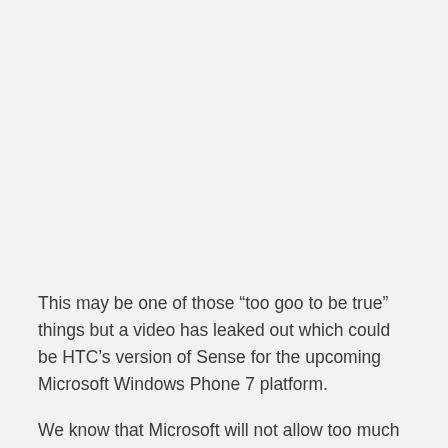This may be one of those “too goo to be true” things but a video has leaked out which could be HTC’s version of Sense for the upcoming Microsoft Windows Phone 7 platform.
We know that Microsoft will not allow too much